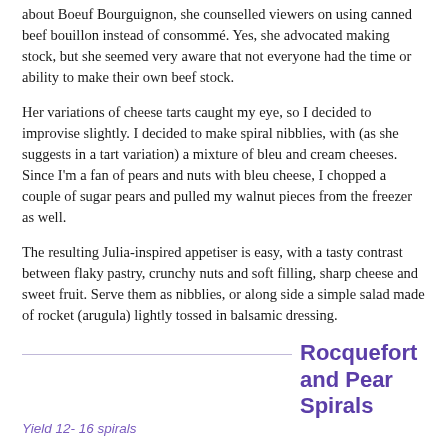about Boeuf Bourguignon, she counselled viewers on using canned beef bouillon instead of consommé. Yes, she advocated making stock, but she seemed very aware that not everyone had the time or ability to make their own beef stock.
Her variations of cheese tarts caught my eye, so I decided to improvise slightly. I decided to make spiral nibblies, with (as she suggests in a tart variation) a mixture of bleu and cream cheeses. Since I'm a fan of pears and nuts with bleu cheese, I chopped a couple of sugar pears and pulled my walnut pieces from the freezer as well.
The resulting Julia-inspired appetiser is easy, with a tasty contrast between flaky pastry, crunchy nuts and soft filling, sharp cheese and sweet fruit. Serve them as nibblies, or along side a simple salad made of rocket (arugula) lightly tossed in balsamic dressing.
Rocquefort and Pear Spirals
Yield 12- 16 spirals
Ingredients:
225g (0.5lb) puff pastry